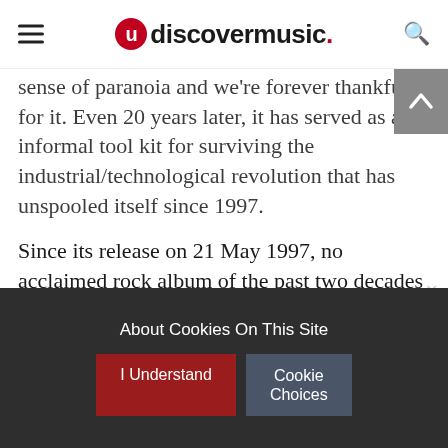udiscovermusic.
sense of paranoia and we're forever thankful for it. Even 20 years later, it has served as an informal tool kit for surviving the industrial/technological revolution that has unspooled itself since 1997.
Since its release on 21 May 1997, no acclaimed rock album of the past two decades has managed to match OK Computer's critical and commercial success – selling more than 4.5 million copies worldwide to date. With OK Computer, Radiohead were hailed as the saviour of rock's future, but they would also herald the end of its domination of the
About Cookies On This Site
I Understand
Cookie Choices